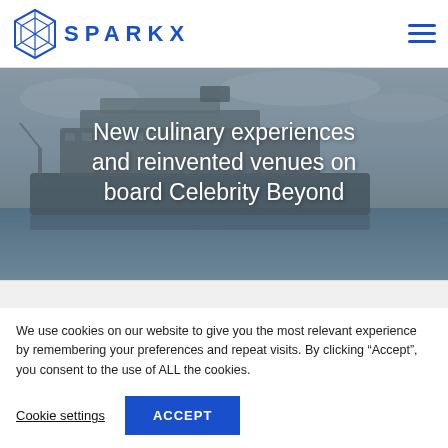SPARKX logo and navigation header
[Figure (screenshot): Hero image of Celebrity Beyond cruise ship on water with overcast sky]
New culinary experiences and reinvented venues on board Celebrity Beyond
We use cookies on our website to give you the most relevant experience by remembering your preferences and repeat visits. By clicking “Accept”, you consent to the use of ALL the cookies.
Cookie settings | ACCEPT